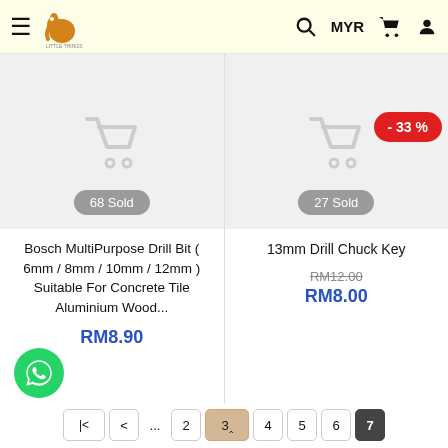Little Things store header with hamburger menu, logo, search, MYR currency, cart, and user icons
[Figure (screenshot): Product image placeholder with cart icon for Bosch MultiPurpose Drill Bit, showing 68 Sold badge]
Bosch MultiPurpose Drill Bit ( 6mm / 8mm / 10mm / 12mm ) Suitable For Concrete Tile Aluminium Wood...
RM8.90
[Figure (screenshot): Product image placeholder with cart icon for 13mm Drill Chuck Key, showing -33% discount badge and 27 Sold badge]
13mm Drill Chuck Key
RM12.00
RM8.00
Pagination: |< < ... 2 3 4 5 6 7